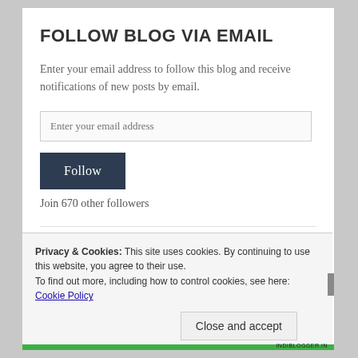FOLLOW BLOG VIA EMAIL
Enter your email address to follow this blog and receive notifications of new posts by email.
Enter your email address
Follow
Join 670 other followers
INDIBLOGGER RANK
Privacy & Cookies: This site uses cookies. By continuing to use this website, you agree to their use.
To find out more, including how to control cookies, see here: Cookie Policy
Close and accept